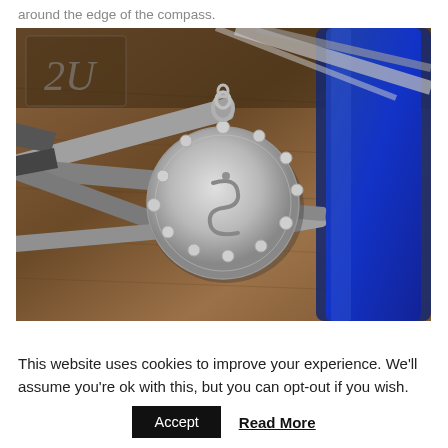around the edge of the compass.
[Figure (photo): A silver compass charm pendant with decorative balls around the edge, photographed on a wooden workbench surrounded by jewelry-making pliers and tools, with a blue-handled tool visible on the right side.]
This website uses cookies to improve your experience. We'll assume you're ok with this, but you can opt-out if you wish.
Accept   Read More